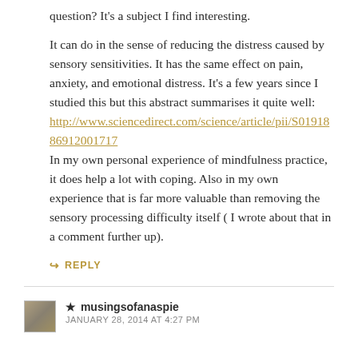question? It's a subject I find interesting.
It can do in the sense of reducing the distress caused by sensory sensitivities. It has the same effect on pain, anxiety, and emotional distress. It's a few years since I studied this but this abstract summarises it quite well: http://www.sciencedirect.com/science/article/pii/S0191886912001717
In my own personal experience of mindfulness practice, it does help a lot with coping. Also in my own experience that is far more valuable than removing the sensory processing difficulty itself ( I wrote about that in a comment further up).
↪ REPLY
★ musingsofanaspie
JANUARY 28, 2014 AT 4:27 PM